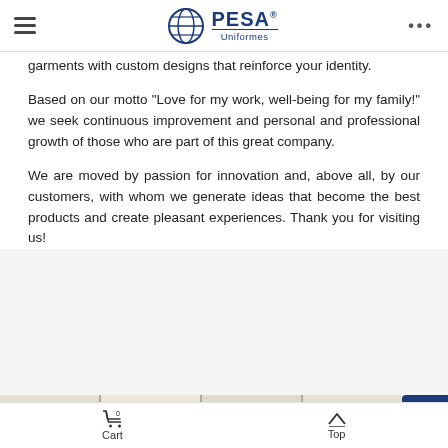PESA Uniformes
garments with custom designs that reinforce your identity.
Based on our motto “Love for my work, well-being for my family!” we seek continuous improvement and personal and professional growth of those who are part of this great company.
We are moved by passion for innovation and, above all, by our customers, with whom we generate ideas that become the best products and create pleasant experiences. Thank you for visiting us!
[Figure (photo): Partial view of shelves or storage area with items, shown as an image strip at the bottom of the page]
Cart   Top